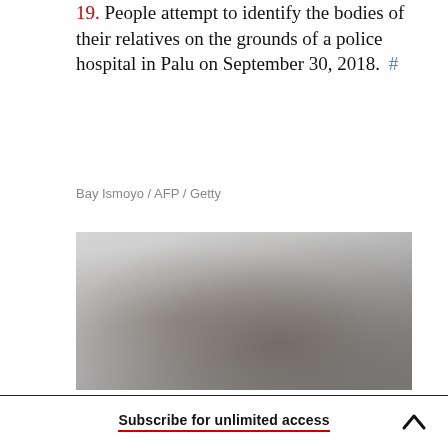19. People attempt to identify the bodies of their relatives on the grounds of a police hospital in Palu on September 30, 2018. #
Bay Ismoyo / AFP / Getty
[Figure (photo): A faded/blurred photograph, partially visible, showing figures at a police hospital in Palu. The image appears washed out with light gray and darker tones in the lower portion.]
Subscribe for unlimited access